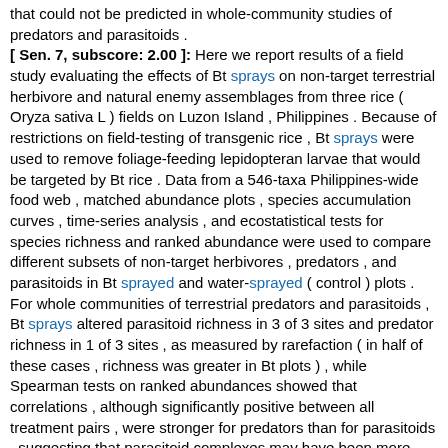that could not be predicted in whole-community studies of predators and parasitoids . [ Sen. 7, subscore: 2.00 ]: Here we report results of a field study evaluating the effects of Bt sprays on non-target terrestrial herbivore and natural enemy assemblages from three rice ( Oryza sativa L ) fields on Luzon Island , Philippines . Because of restrictions on field-testing of transgenic rice , Bt sprays were used to remove foliage-feeding lepidopteran larvae that would be targeted by Bt rice . Data from a 546-taxa Philippines-wide food web , matched abundance plots , species accumulation curves , time-series analysis , and ecostatistical tests for species richness and ranked abundance were used to compare different subsets of non-target herbivores , predators , and parasitoids in Bt sprayed and water-sprayed ( control ) plots . For whole communities of terrestrial predators and parasitoids , Bt sprays altered parasitoid richness in 3 of 3 sites and predator richness in 1 of 3 sites , as measured by rarefaction ( in half of these cases , richness was greater in Bt plots ) , while Spearman tests on ranked abundances showed that correlations , although significantly positive between all treatment pairs , were stronger for predators than for parasitoids , suggesting that parasitoid complexes may have been more sensitive than predators to the effects of Bt sprays . Species accumulation curves and time-series analyses of population trends revealed no evidence that Bt sprays altered the overall buildup of predator or parasitoid communities or population trajectories of non-target herbivores ( planthoppers and leafhoppers ) nor was evidence found for bottom-up effects in total abundances of non-target species identified in the food web from the addition of spores in the Bt spray formulation . When the same methods were applied to natural enemies ( predators and parasitoids ) of foliage-feeding lepidopteran and non-lepidopteran ( homopteran , hemipteran and dipteran ) herbivores